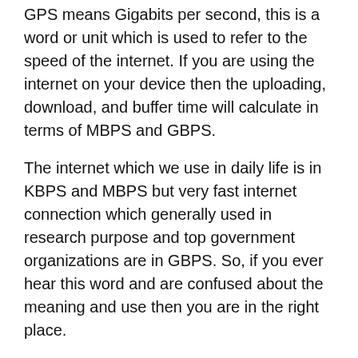GPS means Gigabits per second, this is a word or unit which is used to refer to the speed of the internet. If you are using the internet on your device then the uploading, download, and buffer time will calculate in terms of MBPS and GBPS.
The internet which we use in daily life is in KBPS and MBPS but very fast internet connection which generally used in research purpose and top government organizations are in GBPS. So, if you ever hear this word and are confused about the meaning and use then you are in the right place.
In this article, we going to provide full information about 5gbs meaning and use which end all your doubts.